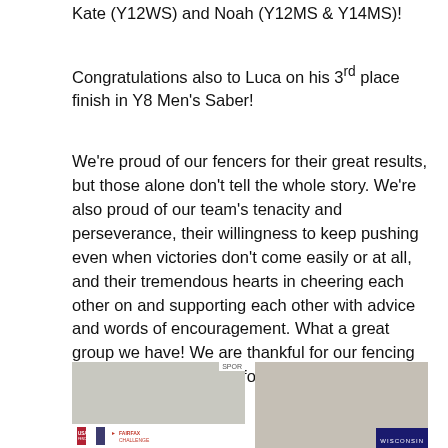Kate (Y12WS) and Noah (Y12MS & Y14MS)!
Congratulations also to Luca on his 3rd place finish in Y8 Men's Saber!
We're proud of our fencers for their great results, but those alone don't tell the whole story. We're also proud of our team's tenacity and perseverance, their willingness to keep pushing even when victories don't come easily or at all, and their tremendous hearts in cheering each other on and supporting each other with advice and words of encouragement. What a great group we have! We are thankful for our fencing families, and can't wait for the next event.
[Figure (photo): Photo of a man seated in front of a USA Fencing banner and a Fairfax Challenge banner]
[Figure (photo): Photo of two people (a woman and a child) smiling at the camera]